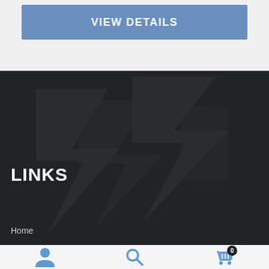VIEW DETAILS
LINKS
Home
Shop Breaks
Our Ebay Store
[Figure (infographic): Bottom navigation bar with user icon, search icon, and cart icon with badge showing 0]